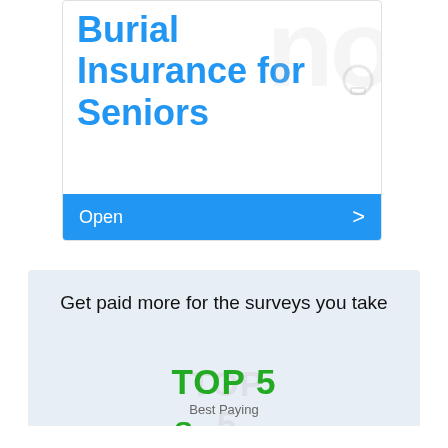[Figure (infographic): Insurance card advertisement for Burial Insurance for Seniors with blue title text, decorative watermark text on right side, and a blue 'Open' bar at the bottom with a right chevron arrow.]
[Figure (infographic): Light blue banner ad saying 'Get paid more for the surveys you take' with a TOP 5 Best Paying Survey graphic partially visible at the bottom.]